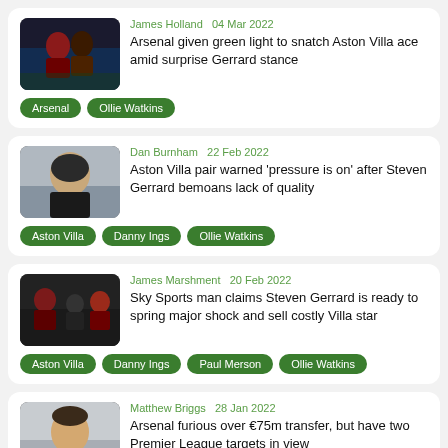[Figure (photo): Football players in Aston Villa kit]
James Holland  04 Mar 2022
Arsenal given green light to snatch Aston Villa ace amid surprise Gerrard stance
Arsenal
Ollie Watkins
[Figure (photo): Steven Gerrard headshot]
Dan Burnham  22 Feb 2022
Aston Villa pair warned 'pressure is on' after Steven Gerrard bemoans lack of quality
Aston Villa
Danny Ings
Ollie Watkins
[Figure (photo): Steven Gerrard with Aston Villa players on training ground]
James Marshment  20 Feb 2022
Sky Sports man claims Steven Gerrard is ready to spring major shock and sell costly Villa star
Aston Villa
Danny Ings
Paul Merson
Ollie Watkins
[Figure (photo): Football player in purple kit]
Matthew Briggs  28 Jan 2022
Arsenal furious over €75m transfer, but have two Premier League targets in view